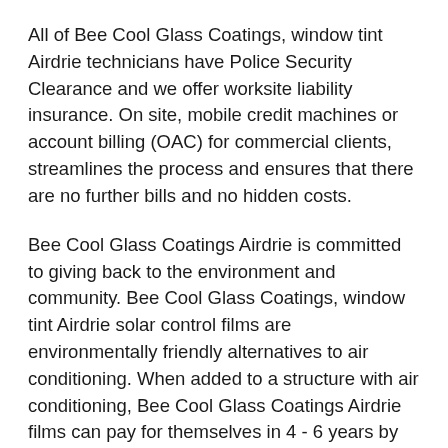All of Bee Cool Glass Coatings, window tint Airdrie technicians have Police Security Clearance and we offer worksite liability insurance. On site, mobile credit machines or account billing (OAC) for commercial clients, streamlines the process and ensures that there are no further bills and no hidden costs.
Bee Cool Glass Coatings Airdrie is committed to giving back to the environment and community. Bee Cool Glass Coatings, window tint Airdrie solar control films are environmentally friendly alternatives to air conditioning. When added to a structure with air conditioning, Bee Cool Glass Coatings Airdrie films can pay for themselves in 4 - 6 years by reducing the amount of air conditioning needed and maintenance of air conditioning equipment, cutting energy costs and leaving a smaller carbon footprint.
Bee Cool Glass Coatings Airdrie is located in a beautiful city and Bee Cool Glass Coating Airdrie technicians do their best to keep it that way. Environmentally friendly solutions from